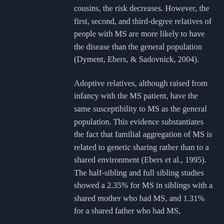cousins, the risk decreases. However, the first, second, and third-degree relatives of people with MS are more likely to have the disease than the general population (Dyment, Ebers, & Sadovnick, 2004).
Adoptive relatives, although raised from infancy with the MS patient, have the same susceptibility to MS as the general population. This evidence substantiates the fact that familial aggregation of MS is related to genetic sharing rather than to a shared environment (Ebers et al., 1995). The half-sibling and full sibling studies showed a 2.35% for MS in siblings with a shared mother who had MS, and 1.31% for a shared father who had MS,